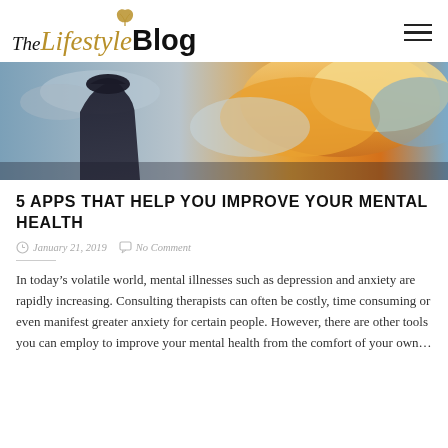The Lifestyle Blog
[Figure (photo): A person silhouetted against a dramatic sky with golden and orange clouds at sunset or sunrise.]
5 APPS THAT HELP YOU IMPROVE YOUR MENTAL HEALTH
January 21, 2019   No Comment
In today’s volatile world, mental illnesses such as depression and anxiety are rapidly increasing. Consulting therapists can often be costly, time consuming or even manifest greater anxiety for certain people. However, there are other tools you can employ to improve your mental health from the comfort of your own...